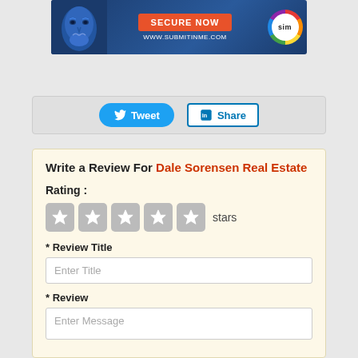[Figure (illustration): Advertisement banner for submitinme.com showing anonymous mask character on dark blue background, orange 'SECURE NOW' button, URL www.submitinme.com, and SIM colorful circular logo]
[Figure (infographic): Social share bar with Twitter 'Tweet' button (blue, rounded) and LinkedIn 'Share' button (white with blue border) on grey background]
Write a Review For Dale Sorensen Real Estate
Rating :
[Figure (infographic): Five grey star rating boxes (unselected stars)]
* Review Title
Enter Title
* Review
Enter Message